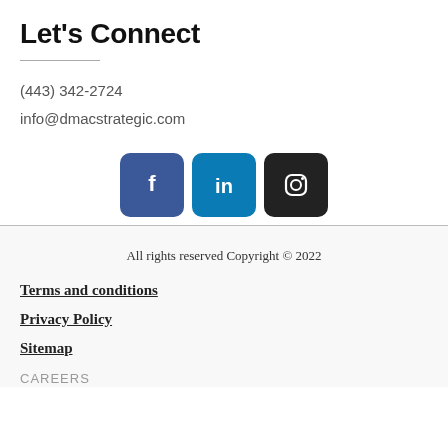Let's Connect
(443) 342-2724
info@dmacstrategic.com
[Figure (other): Social media icons: Facebook (blue rounded square), LinkedIn (blue rounded square), Instagram (black rounded square)]
All rights reserved Copyright © 2022
Terms and conditions
Privacy Policy
Sitemap
CAREERS